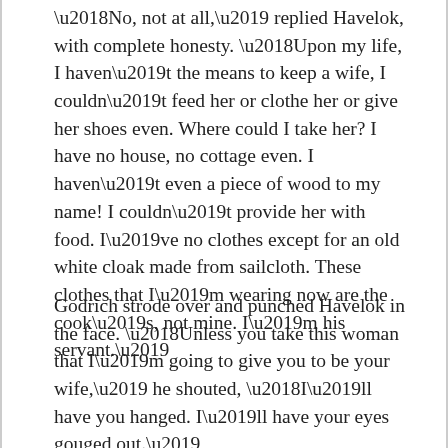‘No, not at all,’ replied Havelok, with complete honesty. ‘Upon my life, I haven’t the means to keep a wife, I couldn’t feed her or clothe her or give her shoes even. Where could I take her? I have no house, no cottage even. I haven’t even a piece of wood to my name! I couldn’t provide her with food. I’ve no clothes except for an old white cloak made from sailcloth. These clothes that I’m wearing now are the cook’s, not mine. I’m his servant.’
Godrich strode over and punched Havelok in the face. ‘Unless you take this woman that I’m going to give you to be your wife,’ he shouted, ‘I’ll have you hanged. I’ll have your eyes gouged out.’